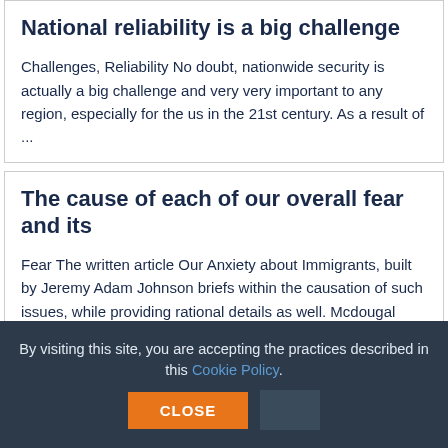National reliability is a big challenge
Challenges, Reliability No doubt, nationwide security is actually a big challenge and very very important to any region, especially for the us in the 21st century. As a result of ...
The cause of each of our overall fear and its
Fear The written article Our Anxiety about Immigrants, built by Jeremy Adam Johnson briefs within the causation of such issues, while providing rational details as well. Mcdougal claims which the ...
By visiting this site, you are accepting the practices described in this Cookie Policy. CLOSE